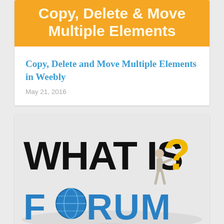[Figure (illustration): Orange banner image with text 'Copy, Delete & Move Multiple Elements' in yellow bold font on orange background.]
Copy, Delete and Move Multiple Elements in Weebly
May 21, 2016
[Figure (illustration): Illustration showing bold text 'WHAT IS ?' with a 3D figure leaning on a large yellow question mark, and below '3D FORUM' text in blue with a globe replacing the letter O.]